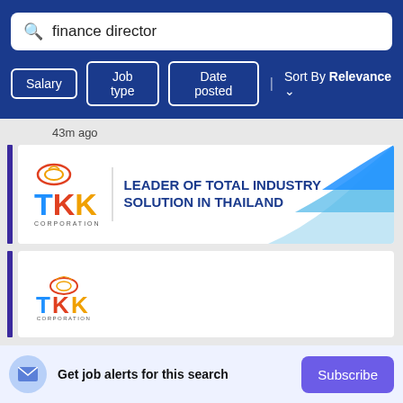finance director
Salary  Job type  Date posted  | Sort By Relevance
43m ago
[Figure (logo): TKK Corporation banner: TKK logo on left with text 'LEADER OF TOTAL INDUSTRY SOLUTION IN THAILAND' in dark blue, blue swoosh decoration on right]
[Figure (logo): TKK Corporation logo: small version of TKK logo]
Get job alerts for this search
Subscribe